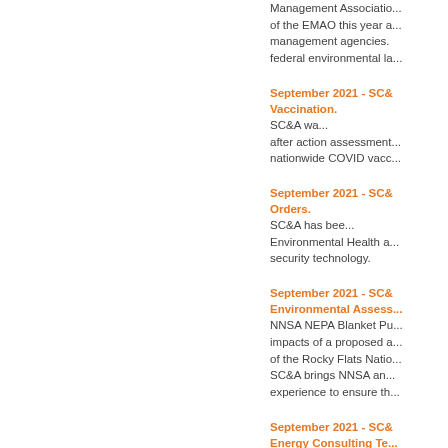Management Association... of the EMAO this year a... management agencies.... federal environmental la...
September 2021 - SC&A Vaccination. SC&A wa... after action assessment... nationwide COVID vac...
September 2021 - SC&A Orders. SC&A has bee... Environmental Health a... security technology.
September 2021 - SC&A Environmental Assess... NNSA NEPA Blanket Pu... impacts of a proposed a... of the Rocky Flats Natio... SC&A brings NNSA an... experience to ensure th...
September 2021 - SC&A Energy Consulting Te... (UDEQ) Division of Wa...